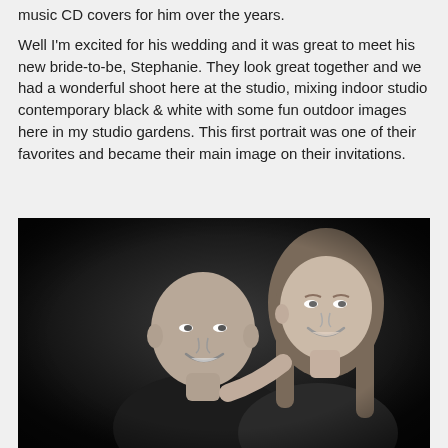music CD covers for him over the years.
Well I'm excited for his wedding and it was great to meet his new bride-to-be, Stephanie. They look great together and we had a wonderful shoot here at the studio, mixing indoor studio contemporary black & white with some fun outdoor images here in my studio gardens. This first portrait was one of their favorites and became their main image on their invitations.
[Figure (photo): Black and white portrait photograph of a couple — a bald man smiling, with a woman leaning her head toward him, both smiling at the camera against a dark studio background.]